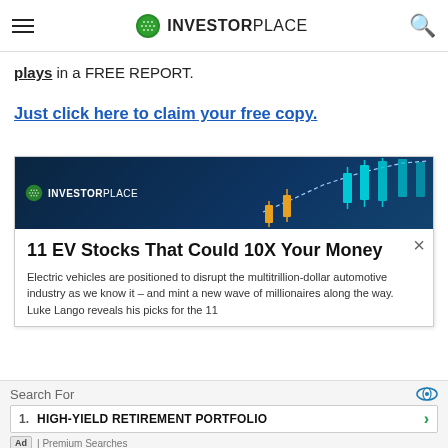INVESTORPLACE
plays in a FREE REPORT.
Just click here to claim your free copy.
[Figure (screenshot): InvestorPlace advertisement card with dark blue header showing stock chart candlesticks, InvestorPlace logo, and article titled '11 EV Stocks That Could 10X Your Money' with description about electric vehicles disrupting automotive industry. A close X button appears at top right of the card body.]
Electric vehicles are positioned to disrupt the multitrillion-dollar automotive industry as we know it – and mint a new wave of millionaires along the way. Luke Lango reveals his picks for the 11
Search For  1. HIGH-YIELD RETIREMENT PORTFOLIO  Ad | Premium Searches